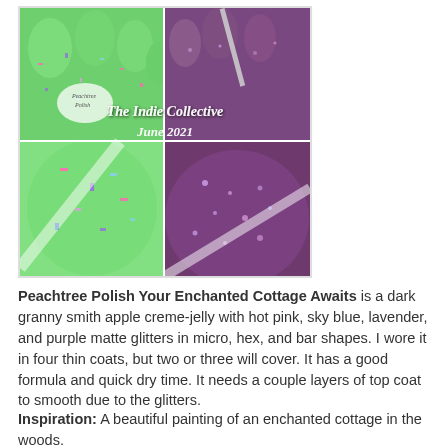[Figure (photo): Four-quadrant photo collage showing nail polish swatches. Top-left: green glitter nail polish on fingers (Peachtree Polish brand visible). Top-right: dark purple/mauve shimmer polish on fingers with bottle. Bottom-left: close-up of green glitter nails. Bottom-right: close-up of purple shimmer nails. Overlaid text reads 'The Indie Collective June 2021'.]
Peachtree Polish Your Enchanted Cottage Awaits is a dark granny smith apple creme-jelly with hot pink, sky blue, lavender, and purple matte glitters in micro, hex, and bar shapes. I wore it in four thin coats, but two or three will cover. It has a good formula and quick dry time. It needs a couple layers of top coat to smooth due to the glitters.
Inspiration: A beautiful painting of an enchanted cottage in the woods.